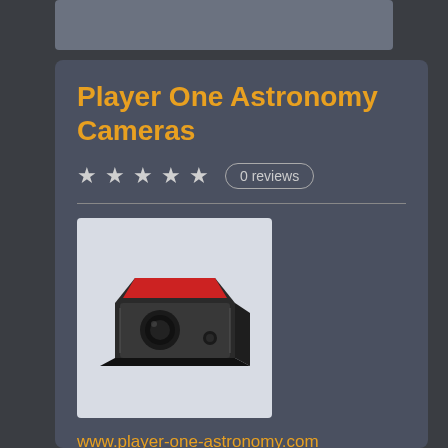Player One Astronomy Cameras
0 reviews
[Figure (photo): Player One Astronomy camera — a compact black and red hexagonal astronomy camera body]
www.player-one-astronomy.com
Installation INDI PlayerOne cameras Driver currently supports all of PlayerOne mono and color cameras. Under Ubuntu, you can install the